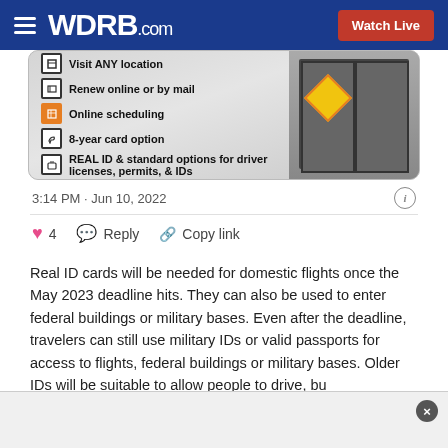WDRB.com — Watch Live
[Figure (screenshot): Tweet screenshot showing an image of a Driver Licensing Regional Center door with a list: Visit ANY location, Renew online or by mail, Online scheduling, 8-year card option, REAL ID & standard options for driver licenses, permits, & IDs]
3:14 PM · Jun 10, 2022
4   Reply   Copy link
Real ID cards will be needed for domestic flights once the May 2023 deadline hits. They can also be used to enter federal buildings or military bases. Even after the deadline, travelers can still use military IDs or valid passports for access to flights, federal buildings or military bases. Older IDs will be suitable to allow people to drive, bu